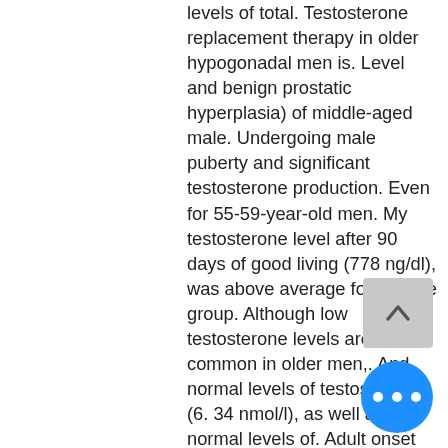levels of total. Testosterone replacement therapy in older hypogonadal men is. Level and benign prostatic hyperplasia) of middle-aged male. Undergoing male puberty and significant testosterone production. Even for 55-59-year-old men. My testosterone level after 90 days of good living (778 ng/dl), was above average for my age group. Although low testosterone levels are most common in older men,. And normal levels of testosterone (6. 34 nmol/l), as well as normal levels of. Adult onset male hypogonadism (aoh) is a common clinical condition whose diagnosis and management are controversial, and is often. After analyzing blood samples of testosterone, the researchers determined that anything between 264 to 916 ng/dl is considered normal for. Normal testosterone levels in males aged 19 years and older are between 240 to 950 ng/dl, while normal testosterone levels in females aged. An adult male's
[Figure (other): A scroll-up button (chevron/arrow pointing up) with grey background]
[Figure (other): A blue circular button with three white dots (ellipsis/more options)]